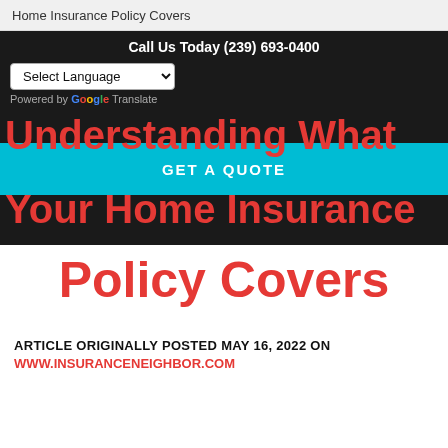Home Insurance Policy Covers
Call Us Today (239) 693-0400
[Figure (screenshot): Select Language dropdown with chevron arrow, and Powered by Google Translate text below]
[Figure (infographic): Cyan/teal banner with GET A QUOTE text overlaid with large red bold title text reading 'Understanding What Your Home Insurance' on dark background, and 'Policy Covers' in red on white below]
Understanding What Your Home Insurance Policy Covers
ARTICLE ORIGINALLY POSTED MAY 16, 2022 ON
WWW.INSURANCENEIGHBOR.COM